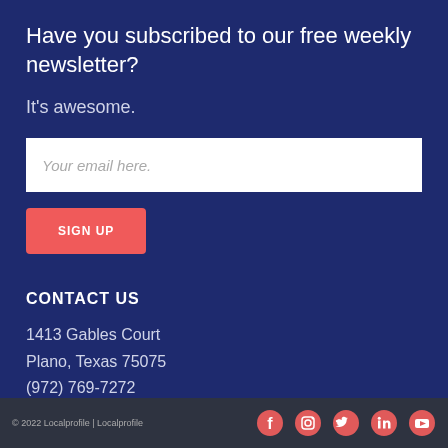Have you subscribed to our free weekly newsletter?
It's awesome.
Your email here.
SIGN UP
CONTACT US
1413 Gables Court
Plano, Texas 75075
(972) 769-7272
connect@localprofile.com
© 2022 Localprofile | Localprofile